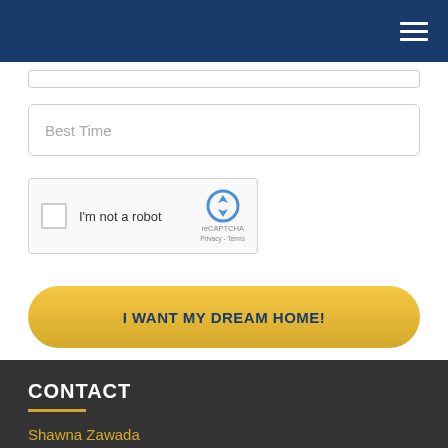[Figure (screenshot): Navigation bar with dark blue background and hamburger menu icon on the right]
Best Time
[Figure (screenshot): reCAPTCHA widget with checkbox labeled 'I'm not a robot' and reCAPTCHA logo with Privacy - Terms links]
I WANT MY DREAM HOME!
CONTACT
Shawna Zawada
Mortgage Expert
115 - 8820 Blackfoot Trail SE
Calgary, AB